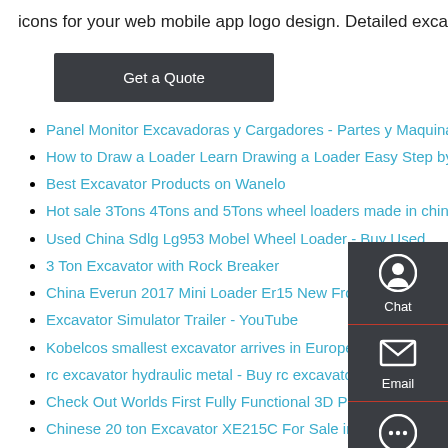icons for your web mobile app logo design. Detailed excavator snow-plow tractor. Vector illustration.
Get a Quote
Panel Monitor Excavadoras y Cargadores - Partes y Maquinas
How to Draw a Loader Learn Drawing a Loader Easy Step by Step
Best Excavator Products on Wanelo
Hot sale 3Tons 4Tons and 5Tons wheel loaders made in china
Used China Sdlg Lg953 Mobel Wheel Loader - Buy Used
3 Ton Excavator with Rock Breaker
China Everun 2017 Mini Loader Er15 New Front End Loaders
Excavator Simulator Trailer - YouTube
Kobelcos smallest excavator arrives in Europe
rc excavator hydraulic metal - Buy rc excavator hydraulic
Check Out Worlds First Fully Functional 3D Printed Excavator at
Chinese 20 ton Excavator XE215C For Sale in Fiji View 20